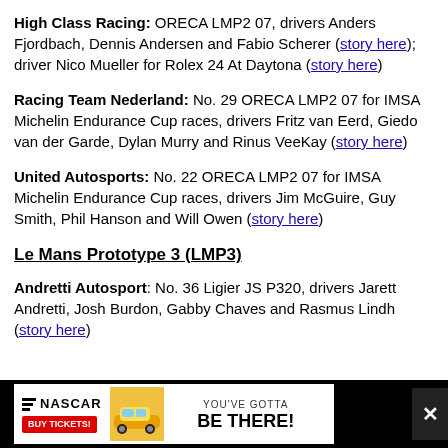High Class Racing: ORECA LMP2 07, drivers Anders Fjordbach, Dennis Andersen and Fabio Scherer (story here); driver Nico Mueller for Rolex 24 At Daytona (story here)
Racing Team Nederland: No. 29 ORECA LMP2 07 for IMSA Michelin Endurance Cup races, drivers Fritz van Eerd, Giedo van der Garde, Dylan Murry and Rinus VeeKay (story here)
United Autosports: No. 22 ORECA LMP2 07 for IMSA Michelin Endurance Cup races, drivers Jim McGuire, Guy Smith, Phil Hanson and Will Owen (story here)
Le Mans Prototype 3 (LMP3)
Andretti Autosport: No. 36 Ligier JS P320, drivers Jarett Andretti, Josh Burdon, Gabby Chaves and Rasmus Lindh (story here)
[Figure (infographic): NASCAR advertisement banner: NASCAR logo with stripes and BUY TICKETS button on left, and YOU'VE GOTTA BE THERE! text on right, with a race car image in the middle.]